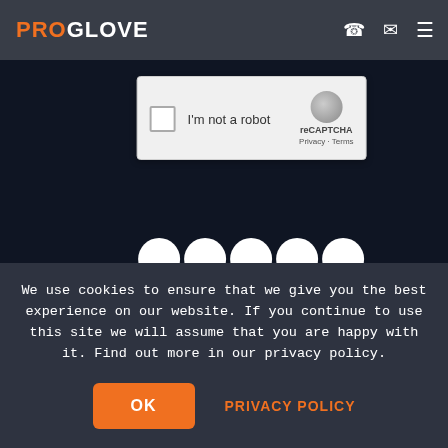PROGLOVE
[Figure (screenshot): Screenshot of a reCAPTCHA widget showing a checkbox labeled 'I'm not a robot' with the reCAPTCHA logo and 'Privacy - Terms' text, overlaid on a dark navy background with white semicircle shapes at the bottom.]
See how our customers in Logistics
We use cookies to ensure that we give you the best experience on our website. If you continue to use this site we will assume that you are happy with it. Find out more in our privacy policy.
OK
PRIVACY POLICY